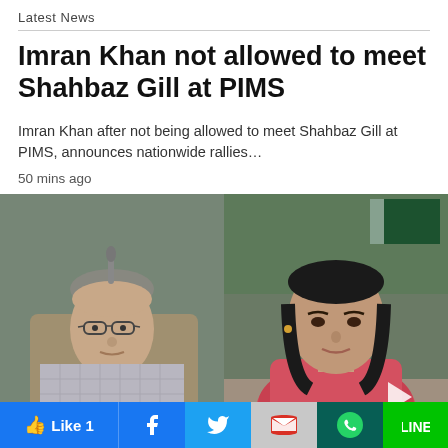Latest News
Imran Khan not allowed to meet Shahbaz Gill at PIMS
Imran Khan after not being allowed to meet Shahbaz Gill at PIMS, announces nationwide rallies…
50 mins ago
[Figure (photo): Two side-by-side video stills: left shows an older man in glasses and a checked blazer seated in front of a green background; right shows a woman in a pink/red patterned dupatta seated in front of green/flag background, with a white play button triangle overlay.]